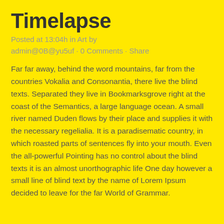Timelapse
Posted at 13:04h in Art by
admin@0B@yu5uf · 0 Comments · Share
Far far away, behind the word mountains, far from the countries Vokalia and Consonantia, there live the blind texts. Separated they live in Bookmarksgrove right at the coast of the Semantics, a large language ocean. A small river named Duden flows by their place and supplies it with the necessary regelialia. It is a paradisematic country, in which roasted parts of sentences fly into your mouth. Even the all-powerful Pointing has no control about the blind texts it is an almost unorthographic life One day however a small line of blind text by the name of Lorem Ipsum decided to leave for the far World of Grammar.